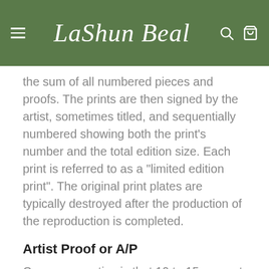LaShun Beal
the sum of all numbered pieces and proofs. The prints are then signed by the artist, sometimes titled, and sequentially numbered showing both the print’s number and the total edition size. Each print is referred to as a “limited edition print”. The original print plates are typically destroyed after the production of the reproduction is completed.
Artist Proof or A/P
Common practice is that 10 to 15 percent of an edition is reserved for the artist. In addition to the regular numbered edition, the artist